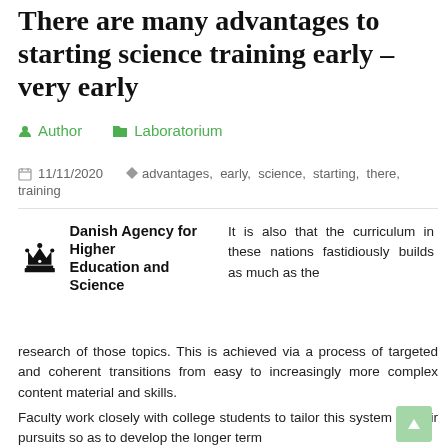There are many advantages to starting science training early – very early
Author   Laboratorium
11/11/2020   advantages, early, science, starting, there, training
[Figure (logo): Danish Agency for Higher Education and Science logo with crown icon]
It is also that the curriculum in these nations fastidiously builds as much as the research of those topics. This is achieved via a process of targeted and coherent transitions from easy to increasingly more complex content material and skills.
Faculty work closely with college students to tailor this system to their pursuits so as to develop the longer term